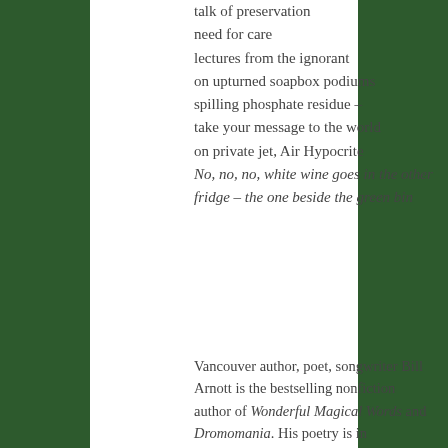talk of preservation
need for care
lectures from the ignorant
on upturned soapbox podiums
spilling phosphate residue –
take your message to the world
on private jet, Air Hypocrite
No, no, no, white wine goes in the other fridge – the one beside the green bin
Vancouver author, poet, songwriter Bill Arnott is the bestselling nonfiction author of Wonderful Magical Words and Dromomania. His poetry is in